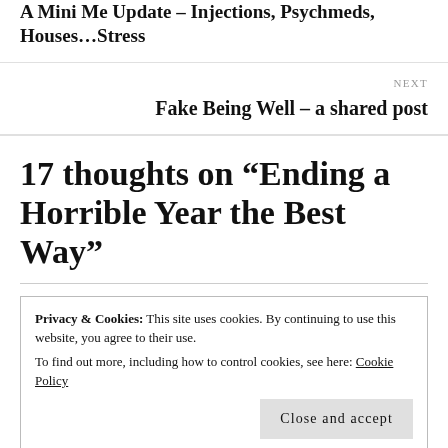A Mini Me Update – Injections, Psychmeds, Houses…Stress
NEXT
Fake Being Well – a shared post
17 thoughts on “Ending a Horrible Year the Best Way”
Privacy & Cookies: This site uses cookies. By continuing to use this website, you agree to their use.
To find out more, including how to control cookies, see here: Cookie Policy
Close and accept
Wendy, I can so relate this